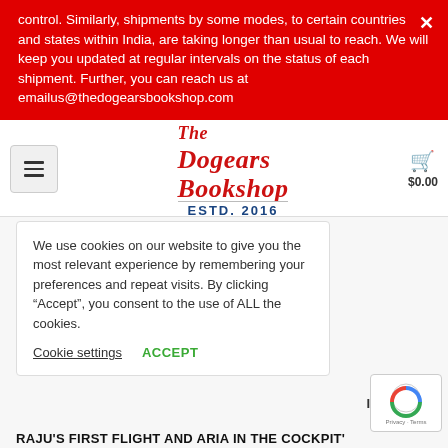control. Similarly, shipments by some modes, to certain countries and states within India, are taking longer than usual to reach. We will keep you updated at regular intervals on the status of each shipment. Further, you can reach us at emailus@thedogearsbookshop.com
[Figure (logo): The Dogears Bookshop logo with cursive red script and ESTD. 2016 subtitle in navy blue]
$0.00
We use cookies on our website to give you the most relevant experience by remembering your preferences and repeat visits. By clicking “Accept”, you consent to the use of ALL the cookies.
Cookie settings   ACCEPT
ION >
RAJU'S FIRST FLIGHT AND ARIA IN THE COCKPIT